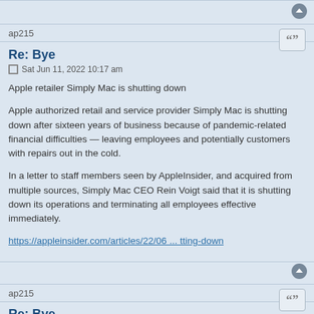ap215
Re: Bye
Sat Jun 11, 2022 10:17 am
Apple retailer Simply Mac is shutting down
Apple authorized retail and service provider Simply Mac is shutting down after sixteen years of business because of pandemic-related financial difficulties — leaving employees and potentially customers with repairs out in the cold.
In a letter to staff members seen by AppleInsider, and acquired from multiple sources, Simply Mac CEO Rein Voigt said that it is shutting down its operations and terminating all employees effective immediately.
https://appleinsider.com/articles/22/06 ... tting-down
ap215
Re: Bye